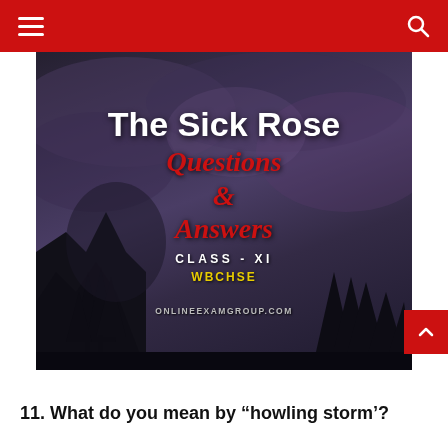Navigation bar with hamburger menu and search icon
[Figure (illustration): Dark moody background image with forest silhouette and purple night sky. Overlaid text reads: 'The Sick Rose' (white bold), 'Questions & Answers' (red italic), 'CLASS - XI' (white spaced), 'WBCHSE' (yellow), 'ONLINEEXAMGROUP.COM' (grey small caps)]
11. What do you mean by "howling storm"?